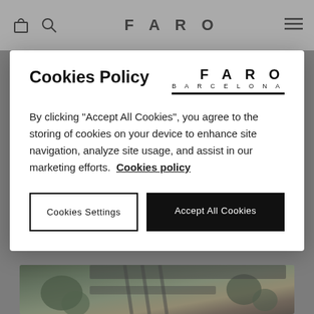FARO
Cookies Policy
[Figure (logo): FARO BARCELONA logo with bold letters and underline bar]
By clicking "Accept All Cookies", you agree to the storing of cookies on your device to enhance site navigation, analyze site usage, and assist in our marketing efforts.  Cookies policy
Cookies Settings
Accept All Cookies
people and improve the performance of the physical,
[Figure (photo): Interior architectural photo showing plants, greenery, ceiling, and wooden slats]